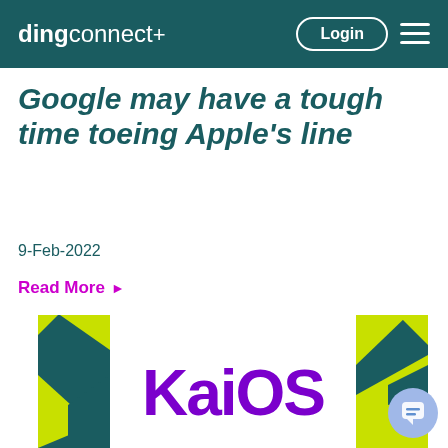dingconnect+ Login
Google may have a tough time toeing Apple's line
9-Feb-2022
Read More ▶
[Figure (logo): KaiOS logo with teal and lime green geometric shapes on left and right sides, purple KaiOS wordmark in center on white background]